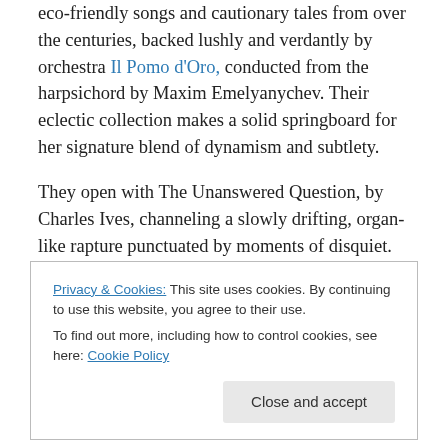eco-friendly songs and cautionary tales from over the centuries, backed lushly and verdantly by orchestra Il Pomo d'Oro, conducted from the harpsichord by Maxim Emelyanychev. Their eclectic collection makes a solid springboard for her signature blend of dynamism and subtlety.
They open with The Unanswered Question, by Charles Ives, channeling a slowly drifting, organ-like rapture punctuated by moments of disquiet. DiDonato brings a vividly searching quality to Gene Scheer's contemplation
Privacy & Cookies: This site uses cookies. By continuing to use this website, you agree to their use. To find out more, including how to control cookies, see here: Cookie Policy
Close and accept